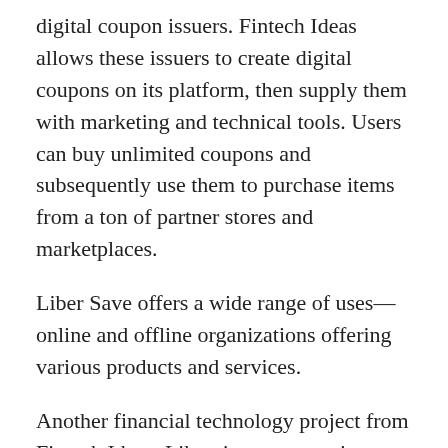digital coupon issuers. Fintech Ideas allows these issuers to create digital coupons on its platform, then supply them with marketing and technical tools. Users can buy unlimited coupons and subsequently use them to purchase items from a ton of partner stores and marketplaces.
Liber Save offers a wide range of uses—online and offline organizations offering various products and services.
Another financial technology project from Fintech Ideas, Liber, is an automatic asset settlement API. Liber aims to simplify access to cryptocurrencies, reduce exchange fees, and offer users an opportunity to buy and swap assets seamlessly.
Marketing Projects